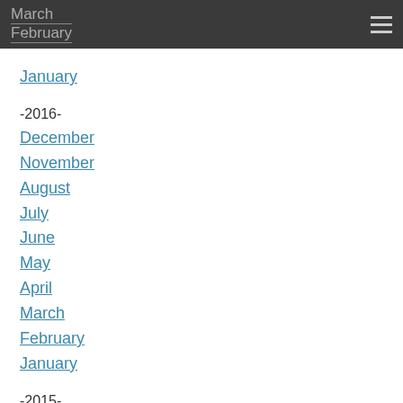March
February
January
-2016-
December
November
August
July
June
May
April
March
February
January
-2015-